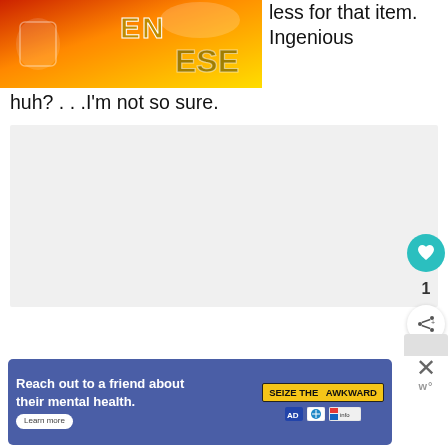[Figure (photo): Close-up of a colorful credit/loyalty card with metallic 3D letters, orange and red gradient background]
less for that item. Ingenious huh? . . .I'm not so sure.
[Figure (screenshot): Gray empty content area placeholder]
[Figure (infographic): Ad banner: 'Reach out to a friend about their mental health. Learn more' with SEIZE THE AWKWARD badge and logos]
[Figure (other): Sidebar UI buttons: heart/like button (teal), count 1, share button, close X, wp logo]